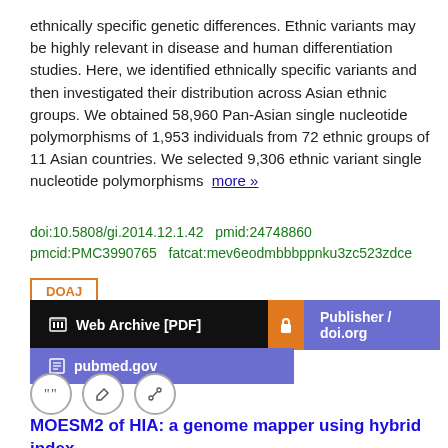ethnically specific genetic differences. Ethnic variants may be highly relevant in disease and human differentiation studies. Here, we identified ethnically specific variants and then investigated their distribution across Asian ethnic groups. We obtained 58,960 Pan-Asian single nucleotide polymorphisms of 1,953 individuals from 72 ethnic groups of 11 Asian countries. We selected 9,306 ethnic variant single nucleotide polymorphisms  more »
doi:10.5808/gi.2014.12.1.42  pmid:24748860
pmmcid:PMC3990765  fatcat:mev6eodmbbbppnku3zc523zdce
DOAJ
Web Archive [PDF]
Publisher / doi.org
pubmed.gov
MOESM2 of HIA: a genome mapper using hybrid index-based sequence alignment
Jongpill Choi, Kiejung Park, Seong Cho, Myungguen Chung
2016 Figshare
Additional file 2: tabular description of HIA. HIA each ...